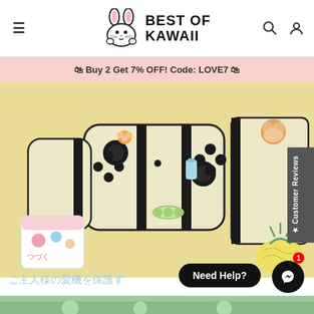BEST OF KAWAII
🛍 Buy 2 Get 7% OFF! Code: LOVE7 🛍
[Figure (photo): Nintendo Switch Joy-Con controllers and cases with kawaii hamster and cute character designs on a yellow background, along with decorative items including a pineapple]
★ Customer Reviews
ご主人様の愛機を保護す
Need Help?